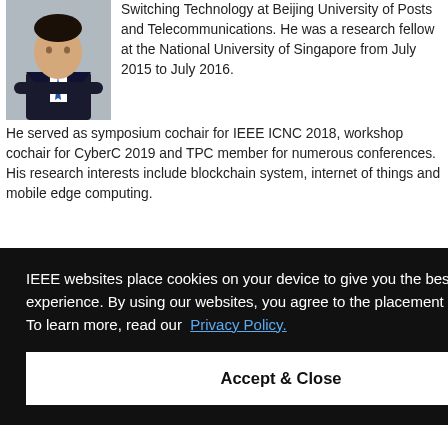[Figure (photo): Portrait photo of a man in a dark suit with arms crossed]
Switching Technology at Beijing University of Posts and Telecommunications. He was a research fellow at the National University of Singapore from July 2015 to July 2016. He served as symposium cochair for IEEE ICNC 2018, workshop cochair for CyberC 2019 and TPC member for numerous conferences. His research interests include blockchain system, internet of things and mobile edge computing.
IEEE websites place cookies on your device to give you the best user experience. By using our websites, you agree to the placement of these cookies. To learn more, read our Privacy Policy.
Accept & Close